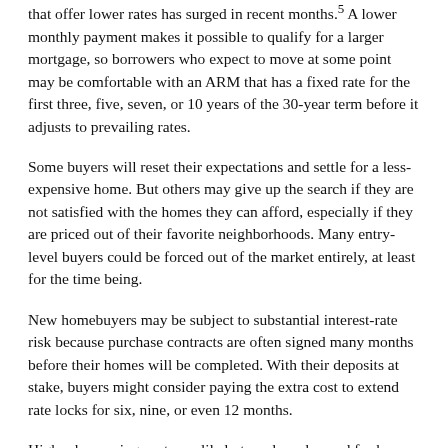that offer lower rates has surged in recent months.⁵ A lower monthly payment makes it possible to qualify for a larger mortgage, so borrowers who expect to move at some point may be comfortable with an ARM that has a fixed rate for the first three, five, seven, or 10 years of the 30-year term before it adjusts to prevailing rates.
Some buyers will reset their expectations and settle for a less-expensive home. But others may give up the search if they are not satisfied with the homes they can afford, especially if they are priced out of their favorite neighborhoods. Many entry-level buyers could be forced out of the market entirely, at least for the time being.
New homebuyers may be subject to substantial interest-rate risk because purchase contracts are often signed many months before their homes will be completed. With their deposits at stake, buyers might consider paying the extra cost to extend rate locks for six, nine, or even 12 months.
Higher borrowing costs are likely to reduce demand for homes enough to slow price growth, and prices might retreat in some overheated markets. Even so, most economists don't expect home prices to collapse because market fundamentals are otherwise relatively strong. Inventory levels are still extremely low, and lenders have generally been conservative, so most homeowners who bought in recent years can afford their mortgages.⁶ Interest rates don't impact cash buyers, such as downsizing retirees and investors, who account for about 26% of transactions.⁷ And assuming the economy and employment hold up, there should be plenty